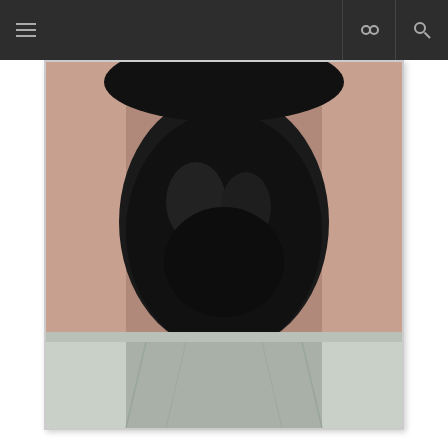[Figure (photo): Close-up photo of a person's neck and beard area, wearing a light grey/white collared garment. The beard is dark and curly.]
Translator Name: Modesta Vertucci
Working Languages: English, Spanish , Portuguese , Quechua , Kurdish
[Figure (photo): Partial image of what appears to be a dark scene with blue tones, possibly showing a person holding or near an object.]